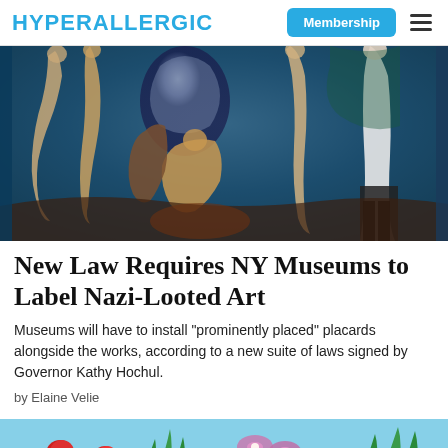HYPERALLERGIC
[Figure (photo): A painting showing multiple nude figures in expressionist style with dark blues and earth tones]
New Law Requires NY Museums to Label Nazi-Looted Art
Museums will have to install “prominently placed” placards alongside the works, according to a new suite of laws signed by Governor Kathy Hochul.
by Elaine Velie
[Figure (photo): A colorful garden scene with red poppies and tropical flowers on a bright background]